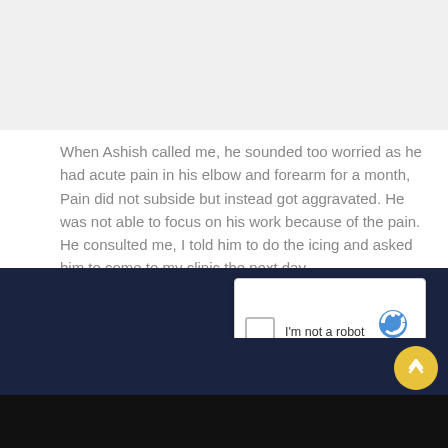[Figure (screenshot): Gray header area at the top of the page]
When Ashish called me, he sounded too worried as he had acute pain in his elbow and forearm for a month, Pain did not subside but instead got aggravated. He was not able to focus on his work because of the pain. He consulted me, I told him to do the icing and asked him to come to my clinic the next day.
I evaluated him in detail, I asked him about his medical history. I diagnosed that Ashish was suffering from tennis elbow.
[Figure (screenshot): reCAPTCHA widget with checkbox labeled 'I'm not a robot' and reCAPTCHA logo with Privacy and Terms links]
[Figure (screenshot): Dark navy footer area with Vimeo logo text in white italic script and a yellow circular scroll-up button]